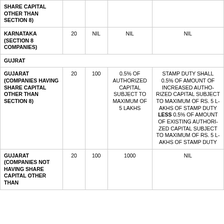| State/Category | Col2 | Col3 | Col4 | Col5 |
| --- | --- | --- | --- | --- |
| SHARE CAPITAL OTHER THAN SECTION 8) |  |  |  |  |
| KARNATAKA (SECTION 8 COMPANIES) | 20 | NIL | NIL | NIL |
| GUJRAT |  |  |  |  |
| GUJARAT (COMPANIES HAVING SHARE CAPITAL OTHER THAN SECTION 8) | 20 | 100 | 0.5% OF AUTHORIZED CAPITAL SUBJECT TO MAXIMUM OF 5 LAKHS | STAMP DUTY SHALL 0.5% OF AMOUNT OF INCREASED AUTHORIZED CAPITAL SUBJECT TO MAXIMUM OF RS. 5 LAKHS OF STAMP DUTY LESS 0.5% OF AMOUNT OF EXISTING AUTHORIZED CAPITAL SUBJECT TO MAXIMUM OF RS. 5 LAKHS OF STAMP DUTY |
| GUJARAT (COMPANIES NOT HAVING SHARE CAPITAL OTHER THAN | 20 | 100 | 1000 | NIL |